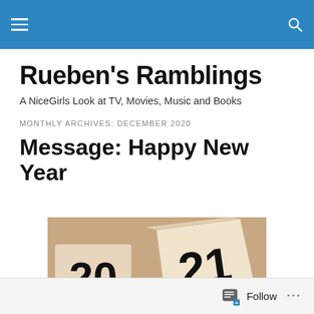Rueben's Ramblings — navigation bar with hamburger menu and search icon
Rueben's Ramblings
A NiceGirls Look at TV, Movies, Music and Books
MONTHLY ARCHIVES: DECEMBER 2020
Message: Happy New Year
[Figure (photo): Wooden calendar blocks showing '2020' being flipped to '2021' on a beige background]
Follow ...